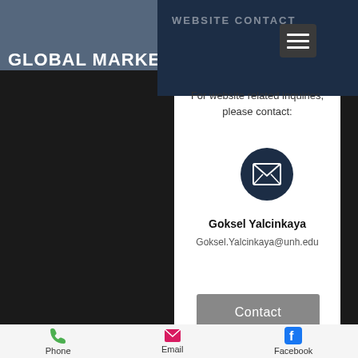GLOBAL MARKETING SIG
WEBSITE CONTACT
For website related inquiries, please contact:
[Figure (illustration): Dark navy circle with white envelope/email icon]
Goksel Yalcinkaya
Goksel.Yalcinkaya@unh.edu
Contact
Welcome
Phone   Email   Facebook